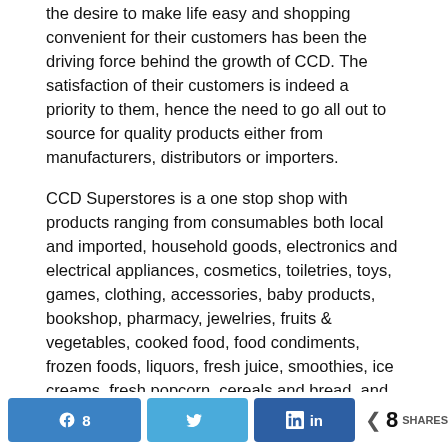the desire to make life easy and shopping convenient for their customers has been the driving force behind the growth of CCD. The satisfaction of their customers is indeed a priority to them, hence the need to go all out to source for quality products either from manufacturers, distributors or importers.
CCD Superstores is a one stop shop with products ranging from consumables both local and imported, household goods, electronics and electrical appliances, cosmetics, toiletries, toys, games, clothing, accessories, baby products, bookshop, pharmacy, jewelries, fruits & vegetables, cooked food, food condiments, frozen foods, liquors, fresh juice, smoothies, ice creams, fresh popcorn, cereals and bread, and so on.
Their customers enjoy various rewards ranging from
Share buttons: Facebook 8, Twitter, LinkedIn in | 8 SHARES